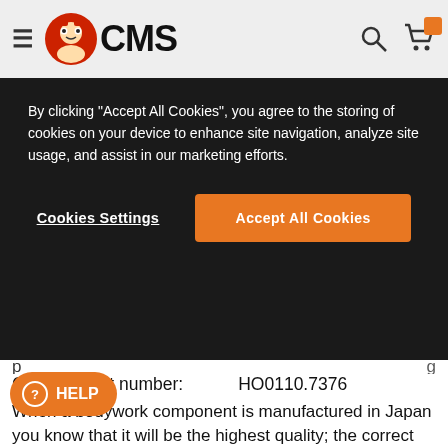CMS (logo with mascot, search icon, cart icon)
By clicking "Accept All Cookies", you agree to the storing of cookies on your device to enhance site navigation, analyze site usage, and assist in our marketing efforts.
Cookies Settings | Accept All Cookies
CMS product number:    HO0110.7376
When a bodywork component is manufactured in Japan you know that it will be the highest quality; the correct factory specification, finished in the correct perfectly matching colours, with the correct graphics and will fit accurately and posses long-term durability. As a bonus it will also help retain a higher residual value in the m...
Could cheap pattern parts offer all of these qualities Doubtful.